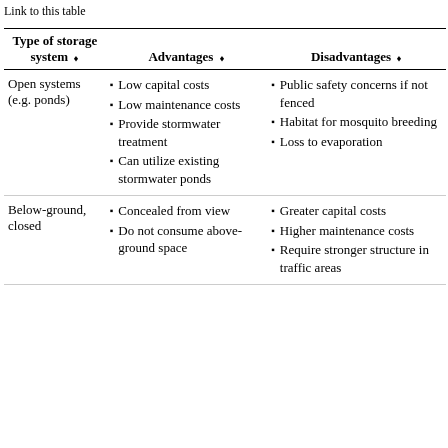Link to this table
| Type of storage system | Advantages | Disadvantages |
| --- | --- | --- |
| Open systems (e.g. ponds) | Low capital costs
Low maintenance costs
Provide stormwater treatment
Can utilize existing stormwater ponds | Public safety concerns if not fenced
Habitat for mosquito breeding
Loss to evaporation |
| Below-ground, closed | Concealed from view
Do not consume above-ground space | Greater capital costs
Higher maintenance costs
Require stronger structure in traffic areas |